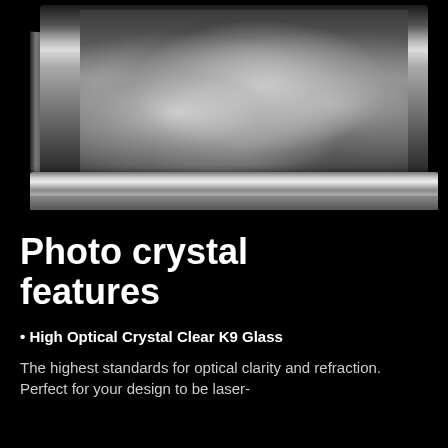[Figure (photo): Black and white photo of a family (two adults and a baby) laser-engraved inside a crystal glass block, shown against a dark background. The crystal block has reflective sides and a flat base.]
Photo crystal features
• High Optical Crystal Clear K9 Glass
The highest standards for optical clarity and refraction. Perfect for your design to be laser-